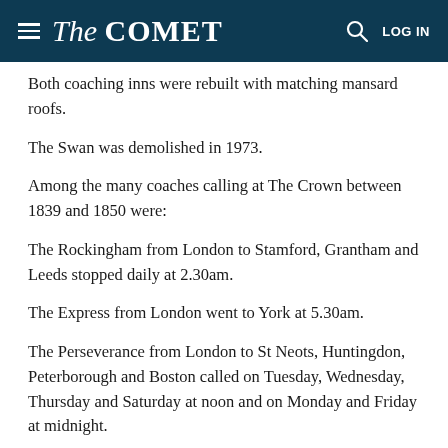The COMET
Both coaching inns were rebuilt with matching mansard roofs.
The Swan was demolished in 1973.
Among the many coaches calling at The Crown between 1839 and 1850 were:
The Rockingham from London to Stamford, Grantham and Leeds stopped daily at 2.30am.
The Express from London went to York at 5.30am.
The Perseverance from London to St Neots, Huntingdon, Peterborough and Boston called on Tuesday, Wednesday, Thursday and Saturday at noon and on Monday and Friday at midnight.